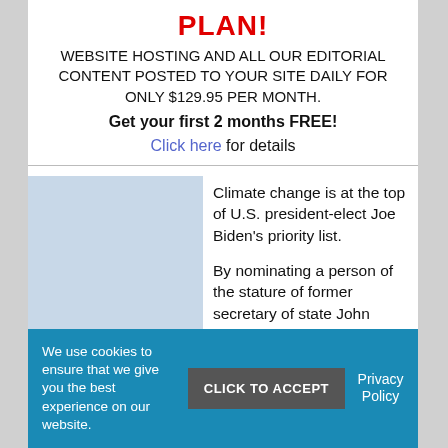PLAN!
WEBSITE HOSTING AND ALL OUR EDITORIAL CONTENT POSTED TO YOUR SITE DAILY FOR ONLY $129.95 PER MONTH.
Get your first 2 months FREE!
Click here for details
Climate change is at the top of U.S. president-elect Joe Biden’s priority list.
By nominating a person of the stature of former secretary of state John Kerry as the special presidential envoy on climate change,
We use cookies to ensure that we give you the best experience on our website.